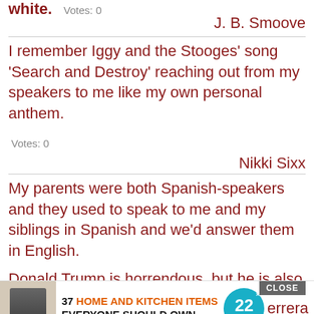white.   Votes: 0
J. B. Smoove
I remember Iggy and the Stooges' song 'Search and Destroy' reaching out from my speakers to me like my own personal anthem.
Votes: 0
Nikki Sixx
My parents were both Spanish-speakers and they used to speak to me and my siblings in Spanish and we'd answer them in English.
Votes: 0
[Figure (screenshot): Advertisement banner: '37 HOME AND KITCHEN ITEMS EVERYONE SHOULD OWN' with 22 Words logo badge and a CLOSE button]
Donald Trump is horrendous, but he is also honest. Both Presidents [Bill] Clinton and